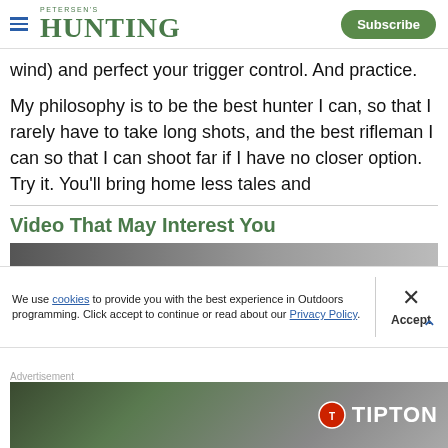PETERSEN'S HUNTING | Subscribe
wind) and perfect your trigger control. And practice.
My philosophy is to be the best hunter I can, so that I rarely have to take long shots, and the best rifleman I can so that I can shoot far if I have no closer option. Try it. You'll bring home less tales and
Video That May Interest You
[Figure (screenshot): Video thumbnail showing 'How to Keep Your Hunting Truck Clean' with dark background]
We use cookies to provide you with the best experience in Outdoors programming. Click accept to continue or read about our Privacy Policy.
Advertisement
[Figure (photo): Tipton advertisement banner showing a person with a rifle and the Tipton logo]